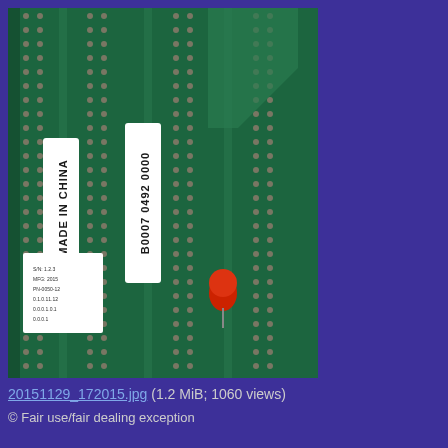[Figure (photo): Close-up photograph of a green printed circuit board (PCB) showing rows of solder pins/contacts, two white rectangular labels reading 'MADE IN CHINA' and 'B0007 0492 0000', another smaller label at bottom left, and a red cylindrical component (likely a capacitor or diode) mounted on the board.]
20151129_172015.jpg (1.2 MiB; 1060 views)
© Fair use/fair dealing exception